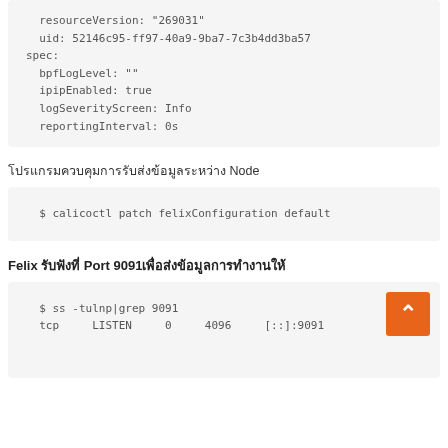resourceVersion: "269031"
  uid: 52146c95-ff97-40a9-9ba7-7c3b4dd3ba57
spec:
  bpfLogLevel: ""
  ipipEnabled: true
  logSeverityScreen: Info
  reportingInterval: 0s
โปรแกรมควบคุมการรับส่งข้อมูลระหว่าง Node
$ calicoctl patch felixConfiguration default
Felix รับฟังที่ Port 9091เพื่อส่งข้อมูลการทำงานให้
$ ss -tulnp|grep 9091
tcp    LISTEN    0    4096    [::]:9091